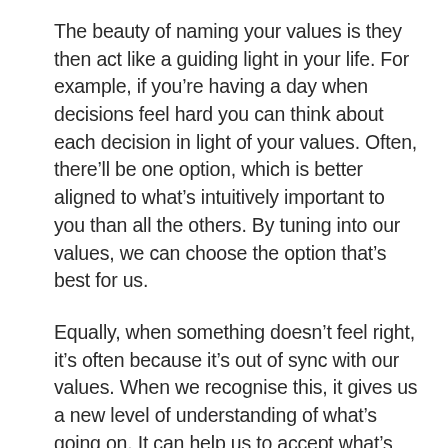The beauty of naming your values is they then act like a guiding light in your life. For example, if you're having a day when decisions feel hard you can think about each decision in light of your values. Often, there'll be one option, which is better aligned to what's intuitively important to you than all the others. By tuning into our values, we can choose the option that's best for us.
Equally, when something doesn't feel right, it's often because it's out of sync with our values. When we recognise this, it gives us a new level of understanding of what's going on. It can help us to accept what's out of our control and when we have the opportunity, it can help us to make